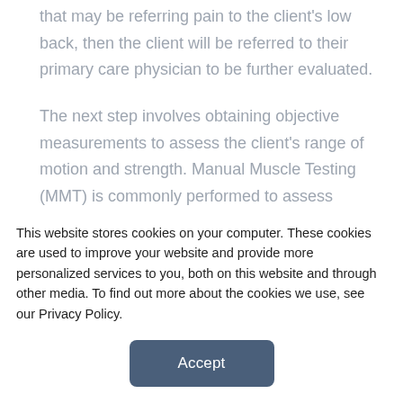that may be referring pain to the client's low back, then the client will be referred to their primary care physician to be further evaluated.

The next step involves obtaining objective measurements to assess the client's range of motion and strength. Manual Muscle Testing (MMT) is commonly performed to assess strength, and a goniometer or inclinometer is commonly used to assess range of motion in lumbar flexion, extension, rotation, and lateral flexion. Next, a movement screen will be performed. The client is first asked to li...
This website stores cookies on your computer. These cookies are used to improve your website and provide more personalized services to you, both on this website and through other media. To find out more about the cookies we use, see our Privacy Policy.